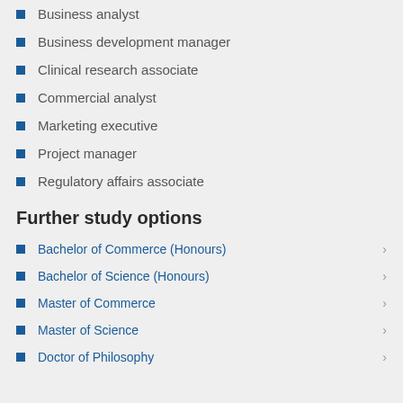Business analyst
Business development manager
Clinical research associate
Commercial analyst
Marketing executive
Project manager
Regulatory affairs associate
Further study options
Bachelor of Commerce (Honours)
Bachelor of Science (Honours)
Master of Commerce
Master of Science
Doctor of Philosophy